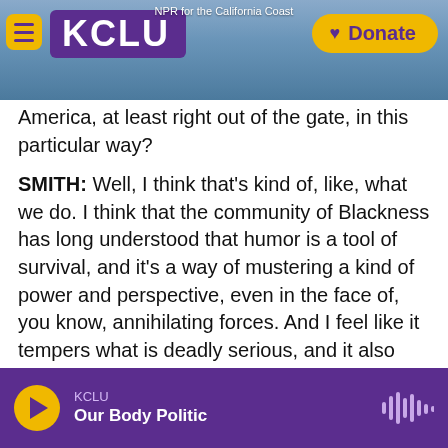[Figure (screenshot): KCLU NPR radio station website header with logo, menu button, donate button, and coastal photo background. Text reads 'NPR for the California Coast'.]
America, at least right out of the gate, in this particular way?
SMITH: Well, I think that's kind of, like, what we do. I think that the community of Blackness has long understood that humor is a tool of survival, and it's a way of mustering a kind of power and perspective, even in the face of, you know, annihilating forces. And I feel like it tempers what is deadly serious, and it also gives us the ability to say, OK, now we can go there. Let's do the hard work.
SHAPIRO: Of all the things you could have written
KCLU Our Body Politic